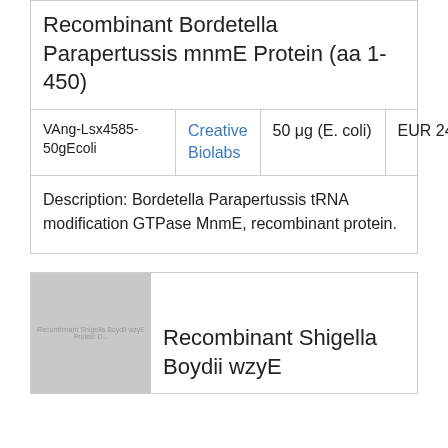Recombinant Bordetella Parapertussis mnmE Protein (aa 1-450)
| SKU | Vendor | Quantity | Price |
| --- | --- | --- | --- |
| VAng-Lsx4585-50gEcoli | Creative Biolabs | 50 μg (E. coli) | EUR 2437 |
Description: Bordetella Parapertussis tRNA modification GTPase MnmE, recombinant protein.
[Figure (photo): Thumbnail image placeholder for Recombinant Shigella Boydii wzyE Protein product]
Recombinant Shigella Boydii wzyE